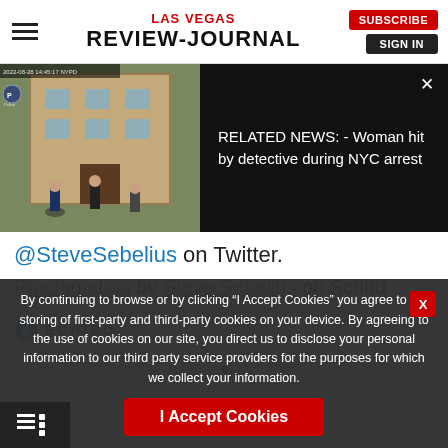LAS VEGAS REVIEW-JOURNAL | SUBSCRIBE | SIGN IN
[Figure (screenshot): Video thumbnail showing police officers outside a building, with related news overlay text: 'RELATED NEWS: - Woman hit by detective during NYC arrest'. Close button (X) visible in top right.]
@SteveSebelius on Twitter.
Proclamation by Steve Sebelius on Scribd
[Figure (screenshot): Scribd embedded document area showing Scribd logo and tagline about millions of books, audiobooks, magazines, documents, sheet music and more for free. Document shows 'Executive [Department]' decorative text.]
By continuing to browse or by clicking “I Accept Cookies” you agree to the storing of first-party and third-party cookies on your device. By agreeing to the use of cookies on our site, you direct us to disclose your personal information to our third party service providers for the purposes for which we collect your information.
I Accept Cookies